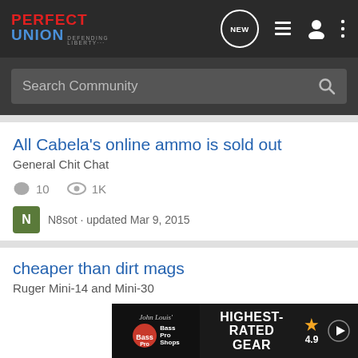Perfect Union — Defending Liberty. Navigation: NEW, list, profile, menu. Search Community.
All Cabela's online ammo is sold out
General Chit Chat
10 comments · 1K views · N8sot · updated Mar 9, 2015
cheaper than dirt mags
Ruger Mini-14 and Mini-30
15 comments · 1K views · Bellaameilon · updated Mar 20, 2009
[Figure (screenshot): Bass Pro Shops ad banner: HIGHEST-RATED GEAR, rating 4.9 stars, with play button]
Where